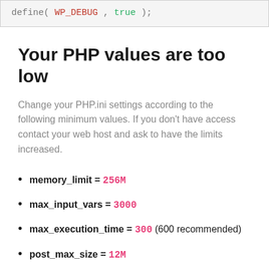[Figure (screenshot): Code block showing: define( WP_DEBUG , true );]
Your PHP values are too low
Change your PHP.ini settings according to the following minimum values. If you don't have access contact your web host and ask to have the limits increased.
memory_limit = 256M
max_input_vars = 3000
max_execution_time = 300 (600 recommended)
post_max_size = 12M
upload_max_filesize = 12M
allow_url_fopen ON
asp_tags OFF